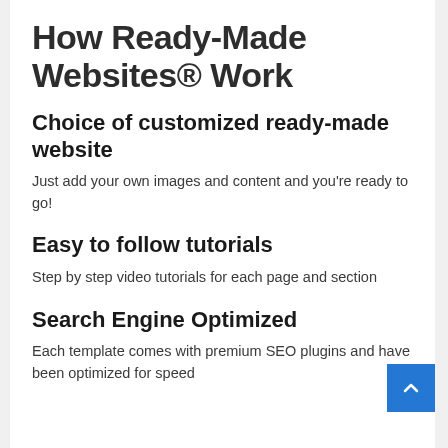How Ready-Made Websites® Work
Choice of customized ready-made website
Just add your own images and content and you're ready to go!
Easy to follow tutorials
Step by step video tutorials for each page and section
Search Engine Optimized
Each template comes with premium SEO plugins and have been optimized for speed